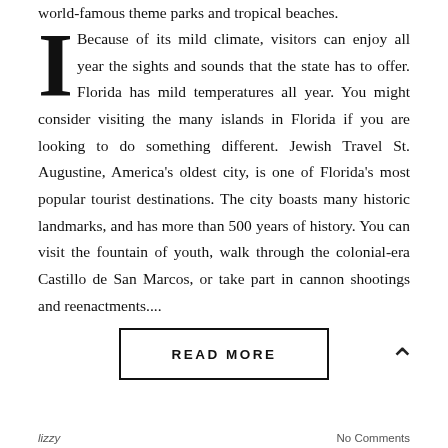world-famous theme parks and tropical beaches. Because of its mild climate, visitors can enjoy all year the sights and sounds that the state has to offer. Florida has mild temperatures all year. You might consider visiting the many islands in Florida if you are looking to do something different. Jewish Travel St. Augustine, America's oldest city, is one of Florida's most popular tourist destinations. The city boasts many historic landmarks, and has more than 500 years of history. You can visit the fountain of youth, walk through the colonial-era Castillo de San Marcos, or take part in cannon shootings and reenactments....
READ MORE
lizzy | No Comments